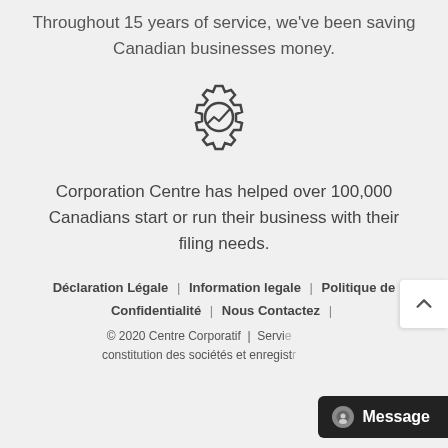Throughout 15 years of service, we've been saving Canadian businesses money.
[Figure (illustration): A gear icon with a rising trend line/checkmark inside, rendered in outline style]
Corporation Centre has helped over 100,000 Canadians start or run their business with their filing needs.
Déclaration Légale | Information legale | Politique de Confidentialité | Nous Contactez | © 2020 Centre Corporatif | Servi... constitution des sociétés et enregist...